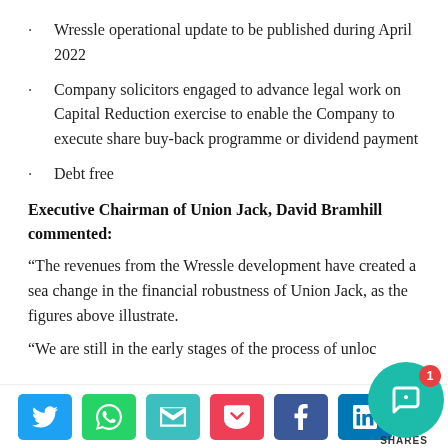Wressle operational update to be published during April 2022
Company solicitors engaged to advance legal work on Capital Reduction exercise to enable the Company to execute share buy-back programme or dividend payment
Debt free
Executive Chairman of Union Jack, David Bramhill commented:
“The revenues from the Wressle development have created a sea change in the financial robustness of Union Jack, as the figures above illustrate.
“We are still in the early stages of the process of unloc…